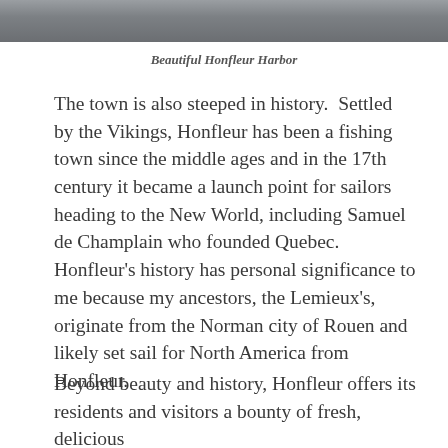[Figure (photo): Partial view of Honfleur Harbor, showing the top portion of the image — boats and harbor structures visible at the top of the page.]
Beautiful Honfleur Harbor
The town is also steeped in history.  Settled by the Vikings, Honfleur has been a fishing town since the middle ages and in the 17th century it became a launch point for sailors heading to the New World, including Samuel de Champlain who founded Quebec. Honfleur's history has personal significance to me because my ancestors, the Lemieux's, originate from the Norman city of Rouen and likely set sail for North America from Honfleur.
Beyond beauty and history, Honfleur offers its residents and visitors a bounty of fresh, delicious